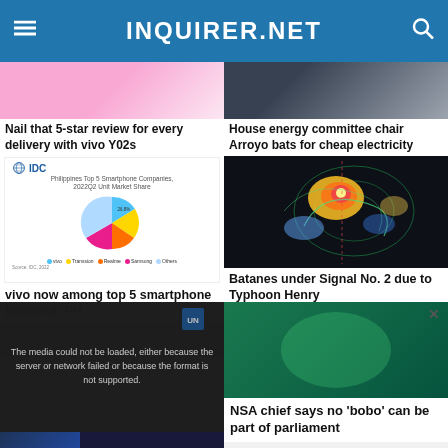INQUIRER.NET
[Figure (photo): Pink/light colored product photo top left]
Nail that 5-star review for every delivery with vivo Y02s
[Figure (pie-chart): IDC Philippines Top 5 Smartphone Companies 2022Q2 Unit Market Share pie chart]
vivo now among top 5 smartphone brands in PH
[Figure (photo): Dark photo, person in dark outfit top right]
House energy committee chair Arroyo bats for cheap electricity
[Figure (photo): Typhoon satellite image - colorful radar image]
Batanes under Signal No. 2 due to Typhoon Henry
[Figure (screenshot): Overlay media error modal and video thumbnail of NSA chief story]
NSA chief says no 'bobo' can be part of parliament
The media could not be loaded, either because the server or network failed or because the format is not supported.